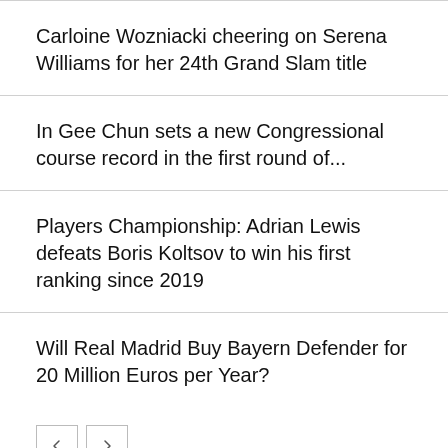Carloine Wozniacki cheering on Serena Williams for her 24th Grand Slam title
In Gee Chun sets a new Congressional course record in the first round of...
Players Championship: Adrian Lewis defeats Boris Koltsov to win his first ranking since 2019
Will Real Madrid Buy Bayern Defender for 20 Million Euros per Year?